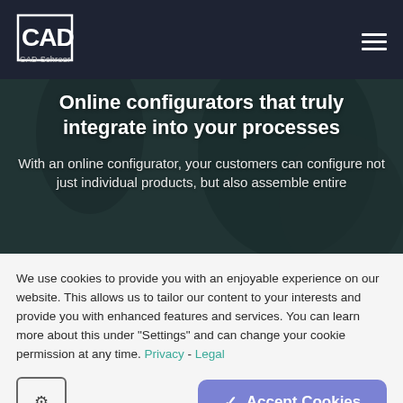[Figure (logo): CAD Schroer logo — white square outline with stylized CAD letters inside, text 'CAD Schroer' below]
Online configurators that truly integrate into your processes
With an online configurator, your customers can configure not just individual products, but also assemble entire
We use cookies to provide you with an enjoyable experience on our website. This allows us to tailor our content to your interests and provide you with enhanced features and services. You can learn more about this under "Settings" and can change your cookie permission at any time. Privacy - Legal